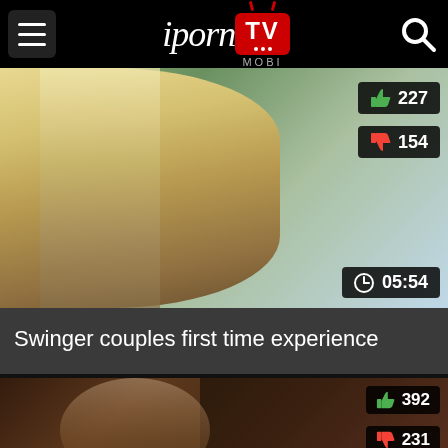iporn TV MOBI
[Figure (screenshot): Video thumbnail showing a blonde woman with sunglasses outdoors near trees and water]
227
154
05:54
Swinger couples first time experience
[Figure (screenshot): Second video thumbnail, dark toned image]
392
231